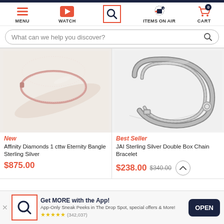MENU | WATCH | SEARCH | ITEMS ON AIR | CART (0)
What can we help you discover?
[Figure (photo): Rose gold diamond eternity bangle bracelet on white background]
New
Affinity Diamonds 1 cttw Eternity Bangle Sterling Silver
$875.00
[Figure (photo): JAI sterling silver double box chain bracelet on white background]
Best Seller
JAI Sterling Silver Double Box Chain Bracelet
$238.00  $340.00
Get MORE with the App!
App-Only Sneak Peeks in The Drop Spot, special offers & More!
★★★★★ (342,037)